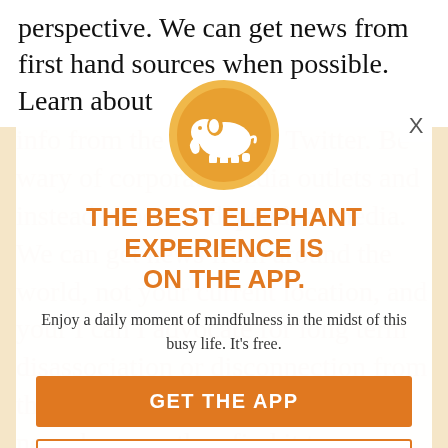perspective. We can get news from first hand sources when possible. Learn about livestreams and seek info from the source on Twitter. Be wary of corporate media outlets and instead choose independent media. We can get news from around the world, not your current location, and your I can I advocate for long term disassociation or disconnection from those who just don't look at any news because they find it too stressful and are personally
[Figure (logo): White elephant silhouette on orange/gold circle with lighter orange border - Elephant Journal app logo]
THE BEST ELEPHANT EXPERIENCE IS ON THE APP.
Enjoy a daily moment of mindfulness in the midst of this busy life. It's free.
GET THE APP
OPEN IN APP